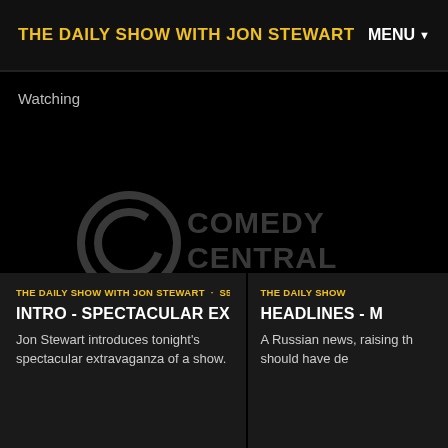THE DAILY SHOW WITH JON STEWART   MENU
Watching
[Figure (screenshot): Comedy Central logo on black video player background with play button and timestamp 01:04]
THE DAILY SHOW WITH JON STEWART · S5
INTRO - SPECTACULAR EXTRVAGANZA
Jon Stewart introduces tonight's spectacular extravaganza of a show.
THE DAILY SHOW
HEADLINES - M
A Russian news, raising th should have de